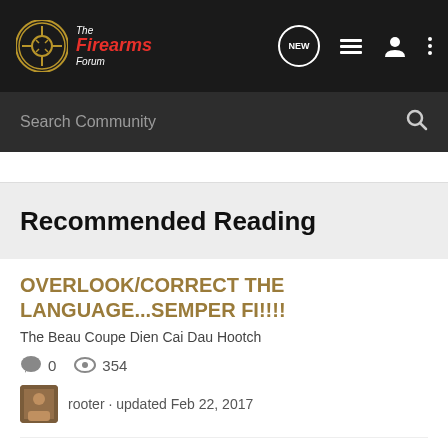The Firearms Forum
Search Community
Recommended Reading
OVERLOOK/CORRECT THE LANGUAGE...SEMPER FI!!!!
The Beau Coupe Dien Cai Dau Hootch
0   354
rooter · updated Feb 22, 2017
MARINE AND ASS-KICKING!!!!